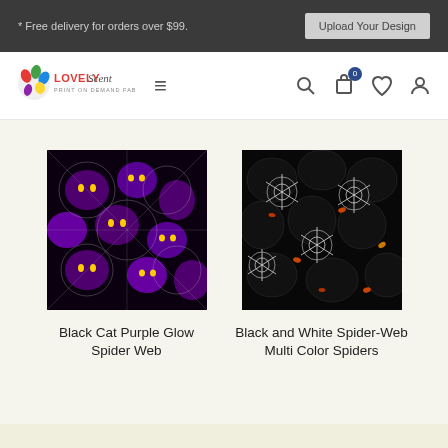* Free delivery for orders over $99.   Upload Your Design
[Figure (logo): Lovely Print on Demand Fabric logo with colorful paint splash icon and script text]
[Figure (photo): Black Cat Purple Glow Spider Web fabric pattern: purple glow cats with glowing eyes on black background with white spider web overlay]
Black Cat Purple Glow Spider Web
[Figure (photo): Black and White Spider-Web Multi Color Spiders fabric pattern: white spider webs with multi-colored spiders on black background]
Black and White Spider-Web Multi Color Spiders